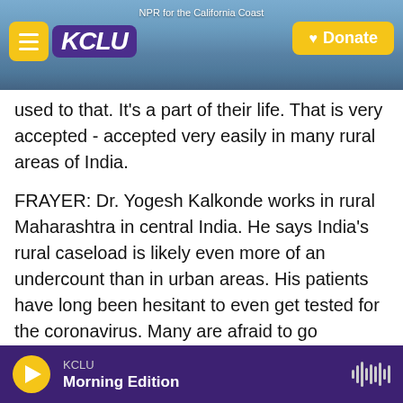[Figure (screenshot): KCLU NPR radio website header with logo, hamburger menu, donate button, and coastal city background photo. Text reads 'NPR for the California Coast'.]
used to that. It's a part of their life. That is very accepted - accepted very easily in many rural areas of India.
FRAYER: Dr. Yogesh Kalkonde works in rural Maharashtra in central India. He says India's rural caseload is likely even more of an undercount than in urban areas. His patients have long been hesitant to even get tested for the coronavirus. Many are afraid to go anywhere near a hospital.
KALKONDE: But that is gradually changing now because of the deaths that are occurring. People are now getting scared, and gradually their
KCLU  Morning Edition